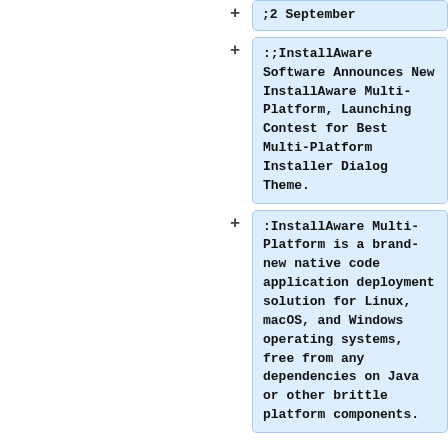+ ;2 September
+ ;;InstallAware Software Announces New InstallAware Multi-Platform, Launching Contest for Best Multi-Platform Installer Dialog Theme.
+ :InstallAware Multi-Platform is a brand-new native code application deployment solution for Linux, macOS, and Windows operating systems, free from any dependencies on Java or other brittle platform components.